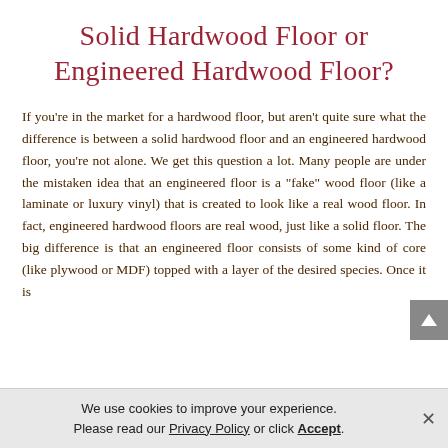Solid Hardwood Floor or Engineered Hardwood Floor?
If you’re in the market for a hardwood floor, but aren’t quite sure what the difference is between a solid hardwood floor and an engineered hardwood floor, you’re not alone. We get this question a lot. Many people are under the mistaken idea that an engineered floor is a “fake” wood floor (like a laminate or luxury vinyl) that is created to look like a real wood floor. In fact, engineered hardwood floors are real wood, just like a solid floor. The big difference is that an engineered floor consists of some kind of core (like plywood or MDF) topped with a layer of the desired species. Once it is
We use cookies to improve your experience. Please read our Privacy Policy or click Accept.